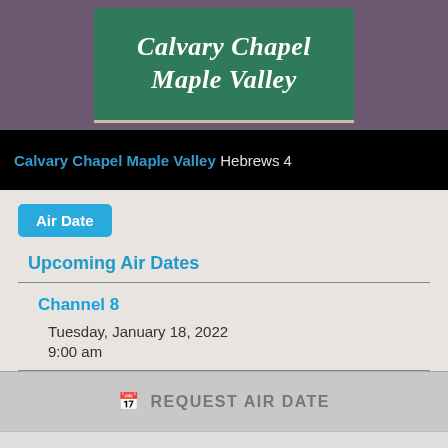[Figure (logo): Calvary Chapel Maple Valley logo — green banner with white italic bold text on purple background]
Calvary Chapel Maple Valley Hebrews 4
Air Date
Upcoming Air Dates
Channel 8
Tuesday, January 18, 2022
9:00 am
REQUEST AIR DATE
ORDER A COPY